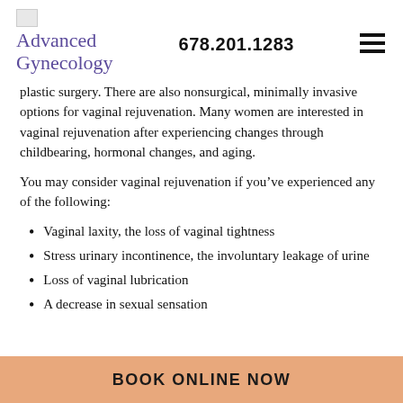Advanced Gynecology   678.201.1283
plastic surgery. There are also nonsurgical, minimally invasive options for vaginal rejuvenation. Many women are interested in vaginal rejuvenation after experiencing changes through childbearing, hormonal changes, and aging.
You may consider vaginal rejuvenation if you’ve experienced any of the following:
Vaginal laxity, the loss of vaginal tightness
Stress urinary incontinence, the involuntary leakage of urine
Loss of vaginal lubrication
A decrease in sexual sensation
BOOK ONLINE NOW